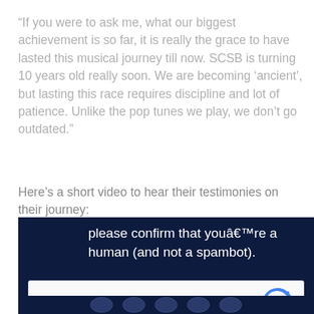“If you were to ask me, what our biggest achievement is so far, it is really the grace to have lasted this musical journey till now. SCSB is turning 10 years old really soon. We are becoming ‘ancient’, but lasting this race requires discipline and lot of patience. Unlike the pop tunes we play, we don’t go outdated.”
Here’s a short video to hear their testimonies on their journey:
[Figure (screenshot): A dark navy blue CAPTCHA verification screen with white text reading 'please confirm that youâ€™re a human (and not a spambot).' and a reCAPTCHA widget with checkbox labeled 'I’m not a robot', reCAPTCHA logo and Privacy/Terms links.]